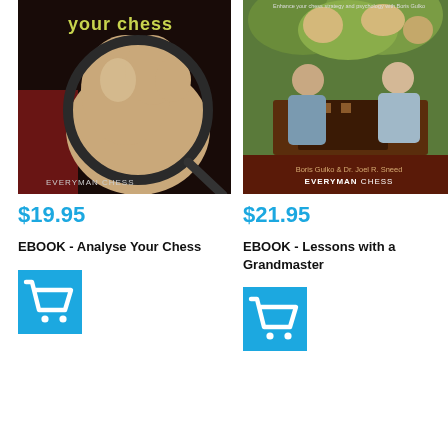[Figure (photo): Book cover: Analyse Your Chess, Everyman Chess. Dark background with magnified chess horse piece in tan/beige, title 'your chess' in yellow-green, Everyman Chess logo at bottom.]
[Figure (photo): Book cover: Lessons with a Grandmaster by Boris Gulko & Dr. Joel R. Sneed, Everyman Chess. Two men playing chess outdoors with flowers in background, dark red bottom with text.]
$19.95
$21.95
EBOOK - Analyse Your Chess
EBOOK - Lessons with a Grandmaster
[Figure (other): Blue shopping cart button for left product]
[Figure (other): Blue shopping cart button for right product]